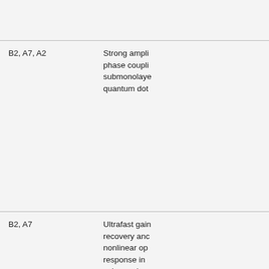|  |  |
| B2, A7, A2 | Strong ampli phase coupli submonolay quantum dot |
| B2, A7 | Ultrafast gain recovery anc nonlinear op response in submonolay quantum dot |
| B2 | Suppression Induced Moc in Multidelay |